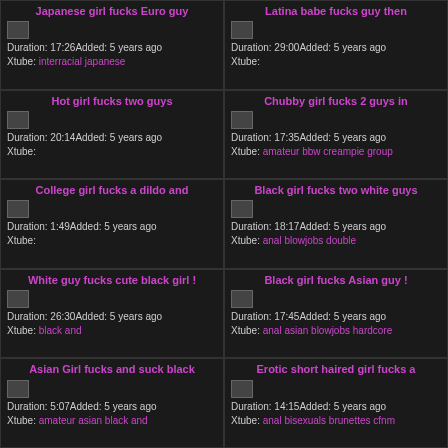Japanese girl fucks Euro guy | Duration: 17:26 Added: 5 years ago | Xtube: interracial japanese
Latina babe fucks guy then | Duration: 29:00 Added: 5 years ago | Xtube:
Hot girl fucks two guys | Duration: 20:14 Added: 5 years ago | Xtube:
Chubby girl fucks 2 guys in | Duration: 17:35 Added: 5 years ago | Xtube: amateur bbw creampie group
College girl fucks a dildo and | Duration: 1:49 Added: 5 years ago | Xtube:
Black girl fucks two white guys | Duration: 18:17 Added: 5 years ago | Xtube: anal blowjobs double
White guy fucks cute black girl ! | Duration: 26:30 Added: 5 years ago | Xtube: black and
Black girl fucks Asian guy ! | Duration: 17:45 Added: 5 years ago | Xtube: anal asian blowjobs hardcore
Asian Girl fucks and suck black | Duration: 5:07 Added: 5 years ago | Xtube: amateur asian black and
Erotic short haired girl fucks a | Duration: 14:15 Added: 5 years ago | Xtube: anal bisexuals brunettes cfnm